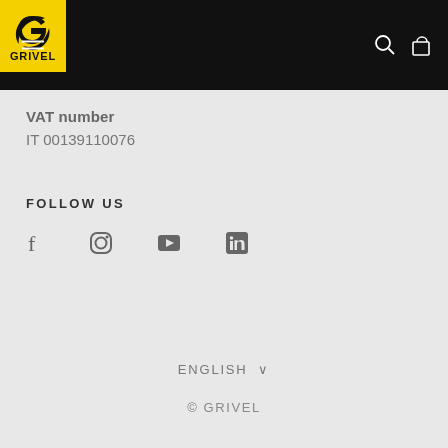[Figure (logo): Grivel brand logo — yellow square with black G-hook icon and GRIVEL text beneath, on black navigation bar header]
VAT number
IT 00139110076
FOLLOW US
[Figure (illustration): Row of social media icons: Facebook, Instagram, YouTube, LinkedIn]
ENGLISH ∨
© GRIVEL